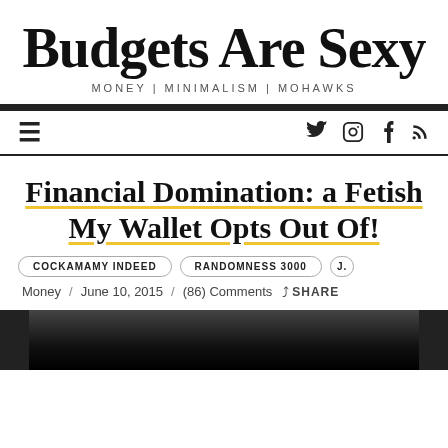Budgets Are Sexy
MONEY | MINIMALISM | MOHAWKS
Navigation bar with hamburger menu and social icons (Twitter, Instagram, Facebook, RSS)
Financial Domination: a Fetish My Wallet Opts Out Of!
COCKAMAMY INDEED   RANDOMNESS 3000   J.
Money / June 10, 2015 / (86) Comments SHARE
[Figure (photo): Dark photo strip at bottom of page, partially visible]